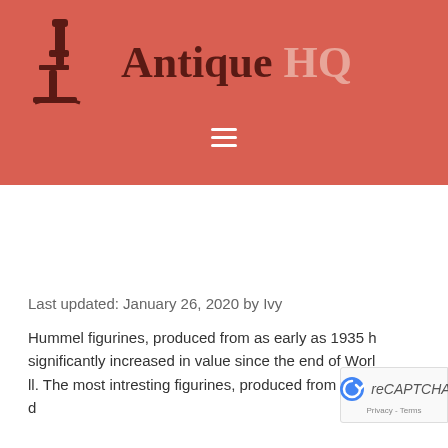Antique HQ
[Figure (logo): Antique HQ logo with microscope icon in dark red and site name 'Antique HQ' in dark red and pink on coral/red background with hamburger menu below]
Last updated: January 26, 2020 by Ivy
Hummel figurines, produced from as early as 1935 have significantly increased in value since the end of World II. The most interesting figurines, produced from as early as 1935 h...